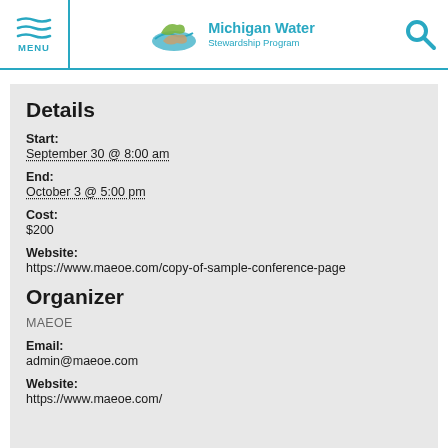MENU | Michigan Water Stewardship Program
Details
Start:
September 30 @ 8:00 am
End:
October 3 @ 5:00 pm
Cost:
$200
Website:
https://www.maeoe.com/copy-of-sample-conference-page
Organizer
MAEOE
Email:
admin@maeoe.com
Website:
https://www.maeoe.com/